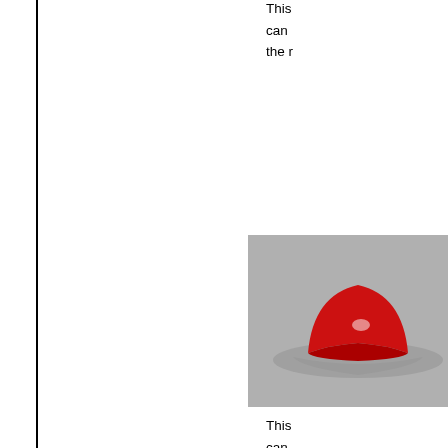This can the r
[Figure (photo): Red cowboy hat on grey background]
Cow RED you Cow Cou SD
This can the r
[Figure (photo): Red cowboy hat on grey background]
Cow RED you Cow Cou SD
This can the r